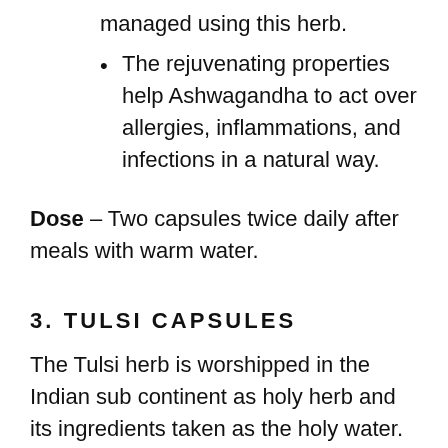managed using this herb.
The rejuvenating properties help Ashwagandha to act over allergies, inflammations, and infections in a natural way.
Dose – Two capsules twice daily after meals with warm water.
3. TULSI CAPSULES
The Tulsi herb is worshipped in the Indian sub continent as holy herb and its ingredients taken as the holy water. Tulsi inherits in it, the wonderful powers of nature that bring about healing in a natural